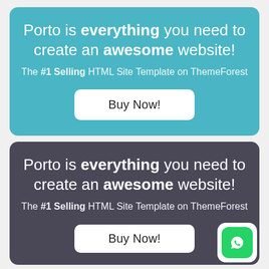[Figure (screenshot): Teal rounded card with headline 'Porto is everything you need to create an awesome website!', subtitle 'The #1 Selling HTML Site Template on ThemeForest', and a white 'Buy Now!' button]
[Figure (screenshot): Dark purple/gray rounded card with headline 'Porto is everything you need to create an awesome website!', subtitle 'The #1 Selling HTML Site Template on ThemeForest', and a partial 'Buy Now!' button at bottom with WhatsApp icon overlay]